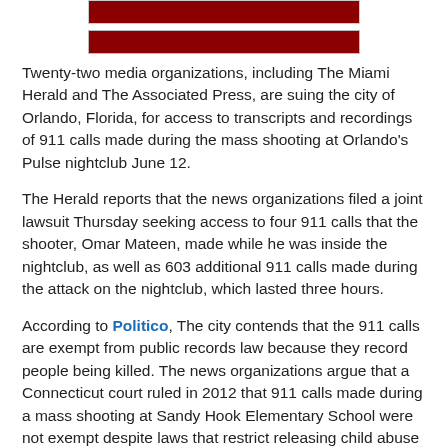[Figure (photo): Red banner image strip at top of article]
Twenty-two media organizations, including The Miami Herald and The Associated Press, are suing the city of Orlando, Florida, for access to transcripts and recordings of 911 calls made during the mass shooting at Orlando's Pulse nightclub June 12.
The Herald reports that the news organizations filed a joint lawsuit Thursday seeking access to four 911 calls that the shooter, Omar Mateen, made while he was inside the nightclub, as well as 603 additional 911 calls made during the attack on the nightclub, which lasted three hours.
According to Politico, The city contends that the 911 calls are exempt from public records law because they record people being killed. The news organizations argue that a Connecticut court ruled in 2012 that 911 calls made during a mass shooting at Sandy Hook Elementary School were not exempt despite laws that restrict releasing child abuse records.
The media organizations also argue that 911 calls do not